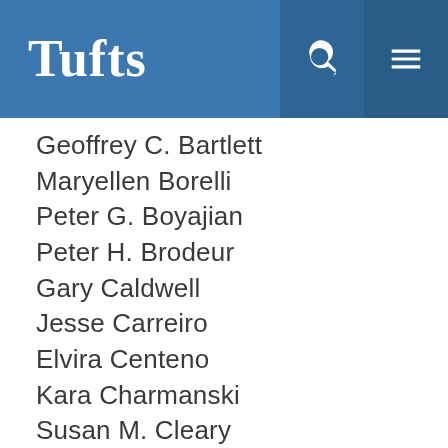Tufts
Geoffrey C. Bartlett
Maryellen Borelli
Peter G. Boyajian
Peter H. Brodeur
Gary Caldwell
Jesse Carreiro
Elvira Centeno
Kara Charmanski
Susan M. Cleary
Jennifer Cloutier
John P. Colella
Patrick Connell
Andrew Cunningham
Lorraine Daignault
Caleb Davis